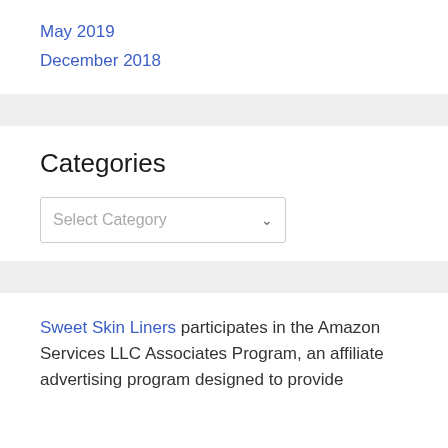May 2019
December 2018
Categories
Select Category
Sweet Skin Liners participates in the Amazon Services LLC Associates Program, an affiliate advertising program designed to provide